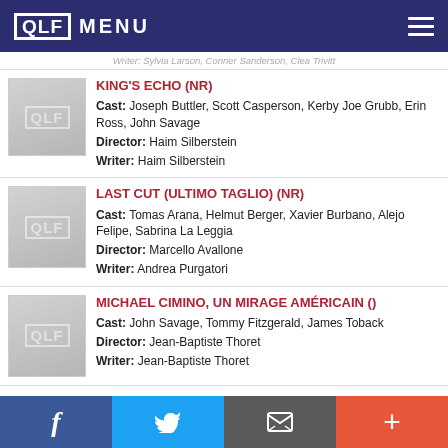QLF MENU
Writer: Sylvia Larson, Conner Sanderson, Clea Trivitt
KING'S ECHO (NR)
Cast: Joseph Buttler, Scott Casperson, Kerby Joe Grubb, Erin Ross, John Savage
Director: Haim Silberstein
Writer: Haim Silberstein
LAST CUT (ULTIMO TAGLIO) (NR)
Cast: Tomas Arana, Helmut Berger, Xavier Burbano, Alejo Felipe, Sabrina La Leggia
Director: Marcello Avallone
Writer: Andrea Purgatori
MICHAEL CIMINO, UN MIRAGE AMÉRICAIN ()
Cast: John Savage, Tommy Fitzgerald, James Toback
Director: Jean-Baptiste Thoret
Writer: Jean-Baptiste Thoret
Facebook Twitter Email Plus